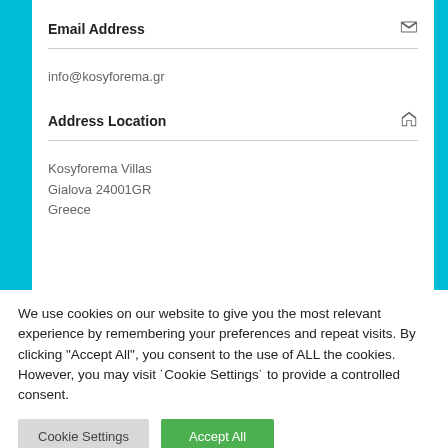Email Address
info@kosyforema.gr
Address Location
Kosyforema Villas
Gialova 24001GR
Greece
We use cookies on our website to give you the most relevant experience by remembering your preferences and repeat visits. By clicking "Accept All", you consent to the use of ALL the cookies. However, you may visit ˙Cookie Settings˙ to provide a controlled consent.
Cookie Settings
Accept All